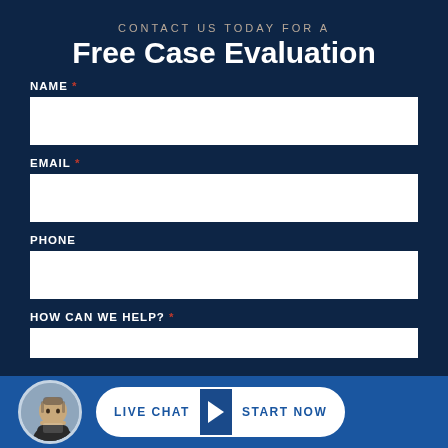CONTACT US TODAY FOR A
Free Case Evaluation
NAME *
EMAIL *
PHONE
HOW CAN WE HELP? *
[Figure (photo): Circular avatar photo of a man in a suit, used as a chat agent avatar in the live chat footer bar]
LIVE CHAT ▶ START NOW